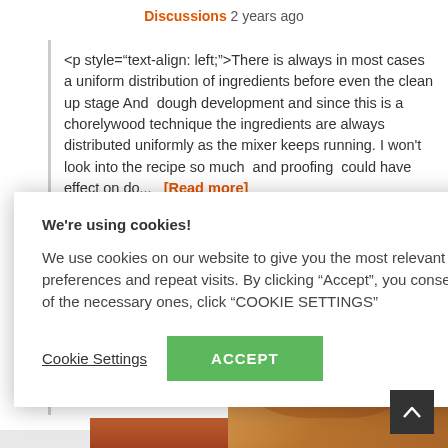Discussions 2 years ago
<p style="text-align: left;">There is always in most cases a uniform distribution of ingredients before even the clean up stage And  dough development and since this is a chorelywood technique the ingredients are always distributed uniformly as the mixer keeps running. I won't look into the recipe so much  and proofing  could have effect on do...  [Read more]
We're using cookies!

We use cookies on our website to give you the most relevant experience by remembering your preferences and repeat visits. By clicking "Accept", you consent to the use of ALL the cookies. To get rid of the necessary ones, click "COOKIE SETTINGS"
Cookie Settings
ACCEPT